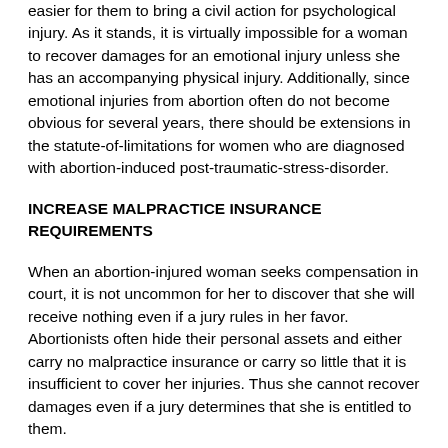easier for them to bring a civil action for psychological injury. As it stands, it is virtually impossible for a woman to recover damages for an emotional injury unless she has an accompanying physical injury. Additionally, since emotional injuries from abortion often do not become obvious for several years, there should be extensions in the statute-of-limitations for women who are diagnosed with abortion-induced post-traumatic-stress-disorder.
INCREASE MALPRACTICE INSURANCE REQUIREMENTS
When an abortion-injured woman seeks compensation in court, it is not uncommon for her to discover that she will receive nothing even if a jury rules in her favor. Abortionists often hide their personal assets and either carry no malpractice insurance or carry so little that it is insufficient to cover her injuries. Thus she cannot recover damages even if a jury determines that she is entitled to them.
This can be corrected by legislation requiring abortionists to have either medical malpractice insurance or proof of financial responsibility. Most states will not let someone drive a car without demonstrating financial responsibility, why would they let someone perform a potentially life-threatening surgery without it? States should not let abortionists and abortion clinics...